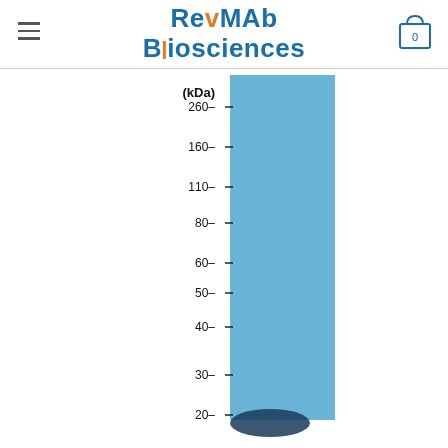ReyMAb Biosciences
[Figure (other): Western blot gel image showing a blue-stained lane with molecular weight markers on the left side. Markers labeled (kDa): 260, 160, 110, 80, 60, 50, 40, 30, 20. A blue stained protein lane is visible, with a dark band appearing near the 20 kDa region at the bottom.]